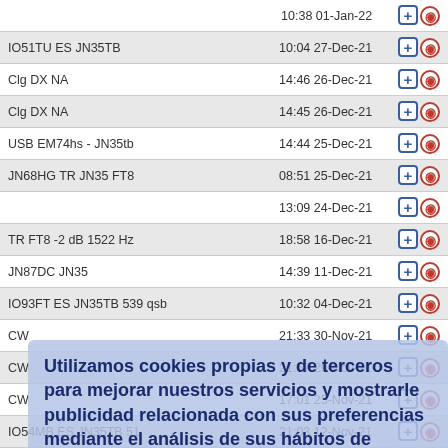| Description | Timestamp | Actions |
| --- | --- | --- |
|  | 10:38 01-Jan-22 | + o |
| IO51TU ES JN35TB | 10:04 27-Dec-21 | + o |
| Clg DX NA | 14:46 26-Dec-21 | + o |
| Clg DX NA | 14:45 26-Dec-21 | + o |
| USB EM74hs - JN35tb | 14:44 25-Dec-21 | + o |
| JN68HG TR JN35 FT8 | 08:51 25-Dec-21 | + o |
|  | 13:09 24-Dec-21 | + o |
| TR FT8 -2 dB 1522 Hz | 18:58 16-Dec-21 | + o |
| JN87DC JN35 | 14:39 11-Dec-21 | + o |
| IO93FT ES JN35TB 539 qsb | 10:32 04-Dec-21 | + o |
| CW | 21:33 30-Nov-21 | + o |
| CW | 21:57 29-Nov-21 | + o |
| CW | 17:01 25-Nov-21 | + o |
| IO54MB ES JN35TB 51 | 21:03 12-Nov-21 | + o |
| 10M open | 20:15 12-Nov-21 | + o |
| IO93FT ES JN35TB 559 qsb | 12:49 05-Nov-21 | + o |
| CW | 19:46 18-Oct-21 | + o |
| Weak Es | 21:39 17-Oct-21 | + o |
Utilizamos cookies propias y de terceros para mejorar nuestros servicios y mostrarle publicidad relacionada con sus preferencias mediante el análisis de sus hábitos de navegación. Si continua navegando, consideramos que acepta su uso. Para obtener más información consulte nuestra política de cookies. Más información
Aceptar